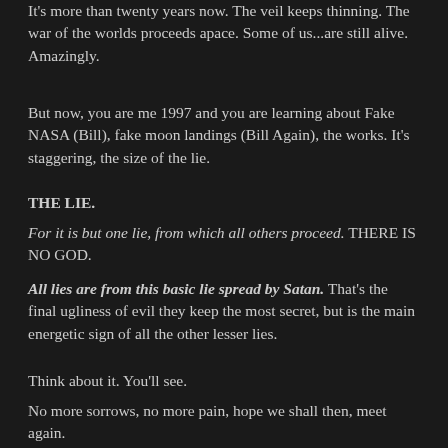It's more than twenty years now. The veil keeps thinning. The war of the worlds proceeds apace. Some of us...are still alive. Amazingly.
But now, you are me 1997 and you are learning about Fake NASA (Bill), fake moon landings (Bill Again), the works. It's staggering, the size of the lie.
THE LIE.
For it is but one lie, from which all others proceed. THERE IS NO GOD.
All lies are from this basic lie spread by Satan. That's the final ugliness of evil they keep the most secret, but is the main energetic sign of all the other lesser lies.
Think about it. You'll see.
No more sorrows, no more pain, hope we shall then, meet again.